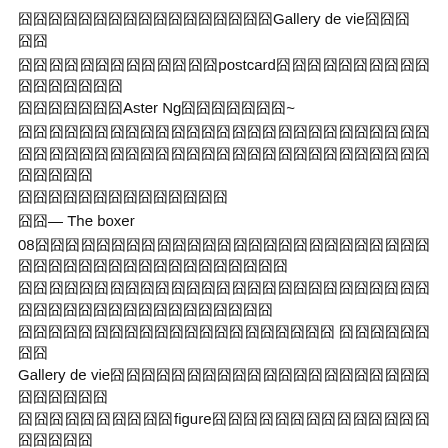囧囧囧囧囧囧囧囧囧囧囧囧囧囧囧囧囧Gallery de vie囧囧囧囧
囧囧囧囧囧囧囧囧囧囧囧囧囧postcard囧囧囧囧囧囧囧囧囧囧囧囧囧囧囧囧囧囧囧囧囧Aster Ng囧囧囧囧囧囧囧~
囧囧囧囧囧囧囧囧囧囧囧囧囧囧囧囧囧囧囧囧囧囧囧囧囧囧囧囧囧囧囧囧囧囧囧囧囧囧囧囧囧囧囧囧囧囧囧囧囧囧囧囧囧囧囧囧囧囧囧
囧囧— The boxer
08囧囧囧囧囧囧囧囧囧囧囧囧囧囧囧囧囧囧囧囧囧囧囧囧囧囧囧囧囧囧囧囧囧囧囧囧囧囧囧囧囧囧囧囧囧囧囧囧囧囧囧囧囧囧囧囧囧囧囧囧囧囧囧囧囧囧囧囧囧囧囧囧囧囧囧囧囧囧囧囧囧囧囧囧囧囧囧囧囧囧囧 囧囧囧囧囧囧囧囧Gallery de vie囧囧囧囧囧囧囧囧囧囧囧囧囧囧囧囧囧囧囧囧囧囧囧囧囧囧囧囧囧囧figure囧囧囧囧囧囧囧囧囧囧囧囧囧囧囧囧囧囧囧囧囧囧囧囧囧囧囧囧囧囧Gallery de vie囧囧囧囧囧囧囧囧囧囧囧囧囧囧1100am-0900pm
囧囧囧—Keo 92340861
Molly the Boxer 2nd round Exhibition succeeded to Boxing Photo Exhibition by Aster Ng. ( you may refer to http://hk.myblog.yahoo.com/aster1238/article?mid=3310 ). By the time, you will have this free poster, of course you won't miss Aster's exhibition.
Theme: the Boxer
As a result of the financial crisis and a